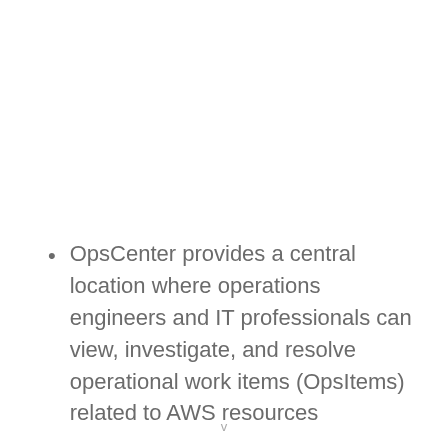OpsCenter provides a central location where operations engineers and IT professionals can view, investigate, and resolve operational work items (OpsItems) related to AWS resources
v